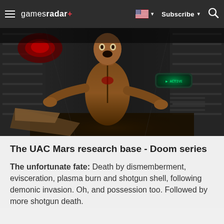gamesradar+ | Subscribe | Search
[Figure (screenshot): Screenshot from Doom series showing a zombie-like character in a brown jumpsuit in a dark sci-fi corridor with metallic walls and orange lighting]
The UAC Mars research base - Doom series
The unfortunate fate: Death by dismemberment, evisceration, plasma burn and shotgun shell, following demonic invasion. Oh, and possession too. Followed by more shotgun death.